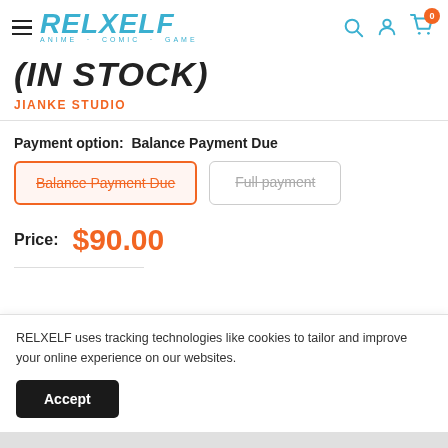RELXELF ANIME · COMIC · GAME
(IN STOCK)
JIANKE STUDIO
Payment option:  Balance Payment Due
Balance Payment Due | Full payment
Price:  $90.00
RELXELF uses tracking technologies like cookies to tailor and improve your online experience on our websites.
Accept